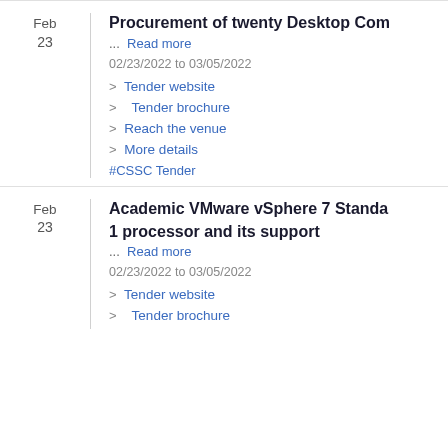Feb
23
Procurement of twenty Desktop Com...
... Read more
02/23/2022 to 03/05/2022
> Tender website
> Tender brochure
> Reach the venue
> More details
#CSSC Tender
Feb
23
Academic VMware vSphere 7 Standa... 1 processor and its support
... Read more
02/23/2022 to 03/05/2022
> Tender website
> Tender brochure